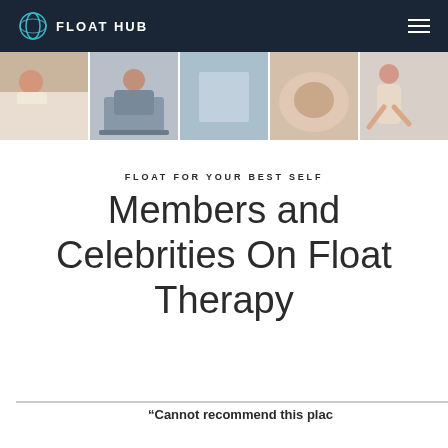FLOAT HUB
[Figure (photo): Photo strip showing five lifestyle images: woman relaxing, person at laptop, abstract/blank, close-up of hands/body, woman in yoga pose]
FLOAT FOR YOUR BEST SELF
Members and Celebrities On Float Therapy
“Cannot recommend this plac